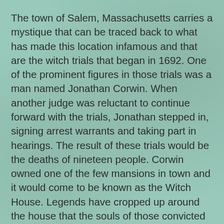The town of Salem, Massachusetts carries a mystique that can be traced back to what has made this location infamous and that are the witch trials that began in 1692. One of the prominent figures in those trials was a man named Jonathan Corwin. When another judge was reluctant to continue forward with the trials, Jonathan stepped in, signing arrest warrants and taking part in hearings. The result of these trials would be the deaths of nineteen people. Corwin owned one of the few mansions in town and it would come to be known as the Witch House. Legends have cropped up around the house that the souls of those convicted of witchcraft haunt the home and other tales claim that women were tortured there to get their confessions. None of these are true. But something is haunting the former home of Jonathan Corwin. Join us and our special guest, Amanda Prouty who has given tours in Salem, as we explore the history and hauntings of the Witch House.
Salem was originally settled by a Native American group who used the area as a trading center. Europeans first settled in 1626 after a group of fishermen led by Roger Conant arrived